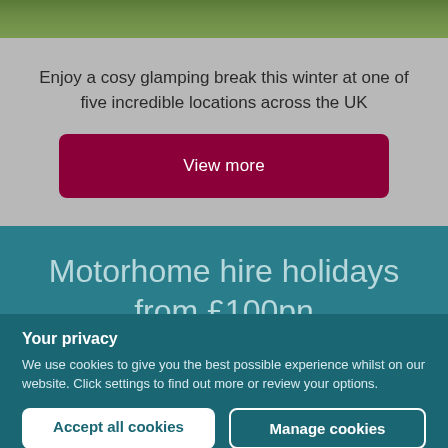[Figure (photo): Partial outdoor/nature photo showing greenery, top strip of image]
Enjoy a cosy glamping break this winter at one of five incredible locations across the UK
View more
Motorhome hire holidays from £100pn
Your privacy
We use cookies to give you the best possible experience whilst on our website. Click settings to find out more or review your options.
Accept all cookies
Manage cookies